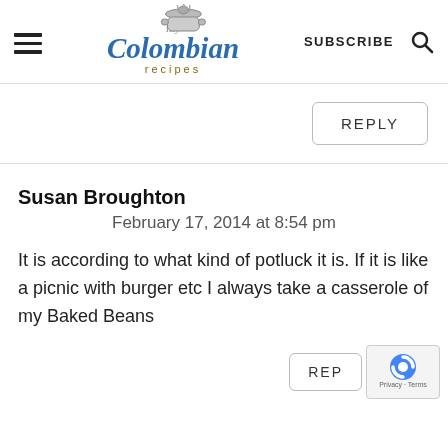my Colombian recipes — SUBSCRIBE
REPLY
Susan Broughton
February 17, 2014 at 8:54 pm
It is according to what kind of potluck it is. If it is like a picnic with burger etc I always take a casserole of my Baked Beans
REP